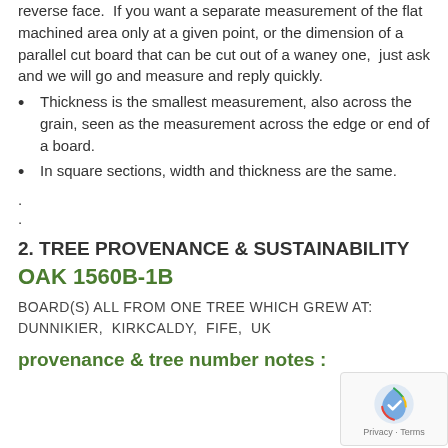reverse face.  If you want a separate measurement of the flat machined area only at a given point, or the dimension of a parallel cut board that can be cut out of a waney one,  just ask and we will go and measure and reply quickly.
Thickness is the smallest measurement, also across the grain, seen as the measurement across the edge or end of a board.
In square sections, width and thickness are the same.
.
.
2. TREE PROVENANCE & SUSTAINABILITY
OAK 1560B-1B
BOARD(S) ALL FROM ONE TREE WHICH GREW AT: DUNNIKIER,  KIRKCALDY,  FIFE,  UK
provenance & tree number notes :